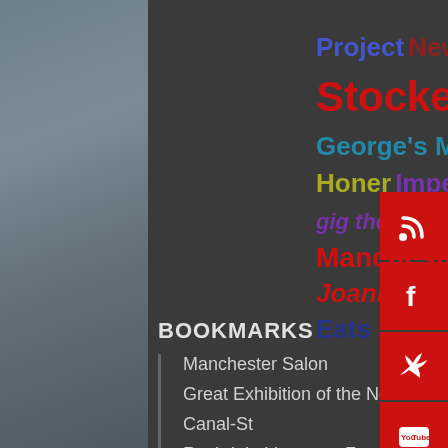[Figure (other): Tag cloud with coloured words on dark background including: Project, New Vic Theatre, Jack, Stocker, Levenshulme, Mike, Leigh, George's Marvellous Medicine, Chris, Honer, Imperial War Museum North, gig theatre, Power Up, shopping, Greater Manchester Fringe Festival, Northerners, Joanna Jowett, comedian, Pre Theatre Eats]
BOOKMARKS
Manchester Salon
Great Exhibition of the North
Canal-St
Rochdale Literature Festival
Fairy Bricks
GinnelWatch